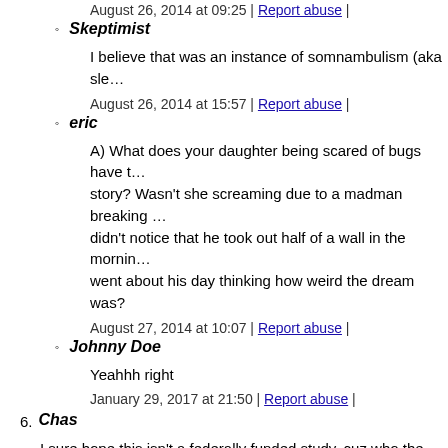August 26, 2014 at 09:25 | Report abuse |
Skeptimist
I believe that was an instance of somnambulism (aka sle…
August 26, 2014 at 15:57 | Report abuse |
eric
A) What does your daughter being scared of bugs have to do with the story? Wasn't she screaming due to a madman breaking… didn't notice that he took out half of a wall in the morning… went about his day thinking how weird the dream was?
August 27, 2014 at 10:07 | Report abuse |
Johnny Doe
Yeahhh right
January 29, 2017 at 21:50 | Report abuse |
6. Chas
I sure hope this isn't a federally funded study, cuz who the hell… who the hell cares?
August 26, 2014 at 00:24 | Report abuse | Reply
leonid78